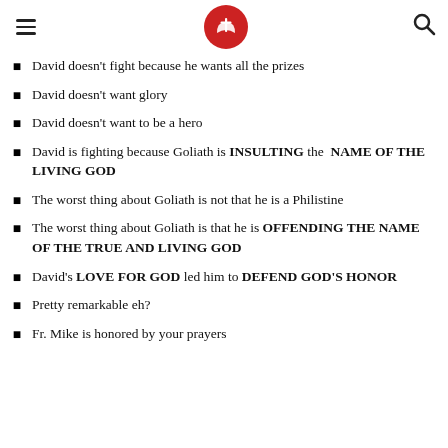Navigation header with hamburger menu, red cross logo, and search icon
David doesn't fight because he wants all the prizes
David doesn't want glory
David doesn't want to be a hero
David is fighting because Goliath is INSULTING the NAME OF THE LIVING GOD
The worst thing about Goliath is not that he is a Philistine
The worst thing about Goliath is that he is OFFENDING THE NAME OF THE TRUE AND LIVING GOD
David's LOVE FOR GOD led him to DEFEND GOD'S HONOR
Pretty remarkable eh?
Fr. Mike is honored by your prayers